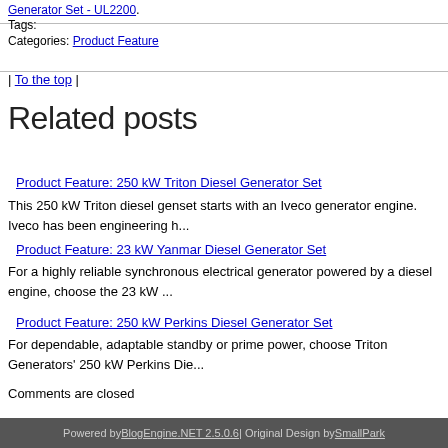Generator Set - UL2200.
Tags:
Categories: Product Feature
| To the top |
Related posts
Product Feature: 250 kW Triton Diesel Generator Set
This 250 kW Triton diesel genset starts with an Iveco generator engine. Iveco has been engineering h...
Product Feature: 23 kW Yanmar Diesel Generator Set
For a highly reliable synchronous electrical generator powered by a diesel engine, choose the 23 kW ...
Product Feature: 250 kW Perkins Diesel Generator Set
For dependable, adaptable standby or prime power, choose Triton Generators' 250 kW Perkins Die...
Comments are closed
Powered by BlogEngine.NET 2.5.0.6 | Original Design by SmallPark